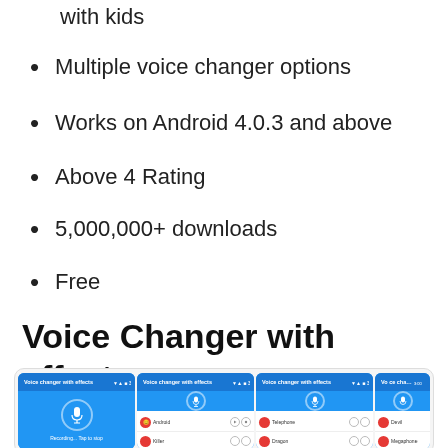with kids
Multiple voice changer options
Works on Android 4.0.3 and above
Above 4 Rating
5,000,000+ downloads
Free
Voice Changer with effects
[Figure (screenshot): Four screenshots of the 'Voice changer with effects' Android app showing the microphone recording screen and lists of voice effects including Android, Killer, Drunk, Giant, Squirrel, Telephone, Dragon, Nervous, Extraterrestrial, Carnival, Devil, Megaphone, Fan, Alien, and more.]